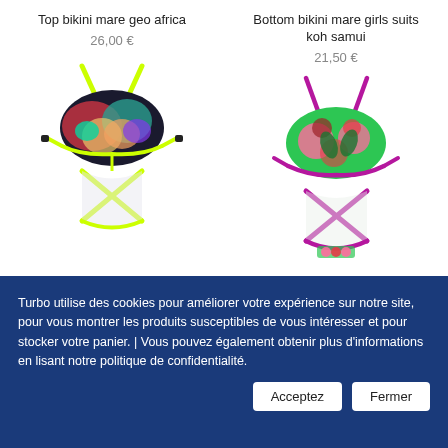Top bikini mare geo africa
26,00 €
[Figure (photo): Colorful tropical print bikini top with neon yellow straps and criss-cross back detail]
Bottom bikini mare girls suits koh samui
21,50 €
[Figure (photo): Colorful floral print bikini bottom with purple/magenta criss-cross straps]
Turbo utilise des cookies pour améliorer votre expérience sur notre site, pour vous montrer les produits susceptibles de vous intéresser et pour stocker votre panier. | Vous pouvez également obtenir plus d'informations en lisant notre politique de confidentialité.